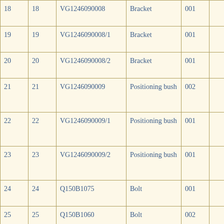| 18 | 18 | VG1246090008 | Bracket | 001 |  |
| 19 | 19 | VG1246090008/1 | Bracket | 001 |  |
| 20 | 20 | VG1246090008/2 | Bracket | 001 |  |
| 21 | 21 | VG1246090009 | Positioning bush | 002 |  |
| 22 | 22 | VG1246090009/1 | Positioning bush | 001 |  |
| 23 | 23 | VG1246090009/2 | Positioning bush | 001 |  |
| 24 | 24 | Q150B1075 | Bolt | 001 |  |
| 25 | 25 | Q150B1060 | Bolt | 002 |  |
| 26 | 26 | VG1092090011 | Oil pressure ... | 001 |  |